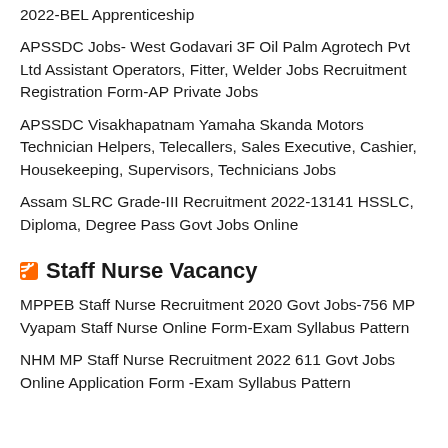2022-BEL Apprenticeship
APSSDC Jobs- West Godavari 3F Oil Palm Agrotech Pvt Ltd Assistant Operators, Fitter, Welder Jobs Recruitment Registration Form-AP Private Jobs
APSSDC Visakhapatnam Yamaha Skanda Motors Technician Helpers, Telecallers, Sales Executive, Cashier, Housekeeping, Supervisors, Technicians Jobs
Assam SLRC Grade-III Recruitment 2022-13141 HSSLC, Diploma, Degree Pass Govt Jobs Online
Staff Nurse Vacancy
MPPEB Staff Nurse Recruitment 2020 Govt Jobs-756 MP Vyapam Staff Nurse Online Form-Exam Syllabus Pattern
NHM MP Staff Nurse Recruitment 2022 611 Govt Jobs Online Application Form -Exam Syllabus Pattern